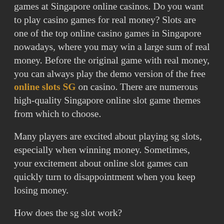games at Singapore online casinos. Do you want to play casino games for real money? Slots are one of the top online casino games in Singapore nowadays, where you may win a large sum of real money. Before the original game with real money, you can always play the demo version of the free online slots SG on casino. There are numerous high-quality Singapore online slot game themes from which to choose.
Many players are excited about playing sg slots, especially when winning money. Sometimes, your excitement about online slot games can quickly turn to disappointment when you keep losing money.
How does the sg slot work?
Online sg slots is a game of chance,